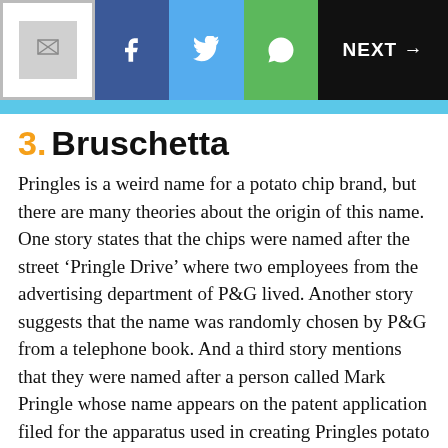[Figure (screenshot): Toolbar with logo placeholder, Facebook, Twitter, WhatsApp share buttons, and NEXT arrow button on dark background]
3. Bruschetta
Pringles is a weird name for a potato chip brand, but there are many theories about the origin of this name. One story states that the chips were named after the street ‘Pringle Drive’ where two employees from the advertising department of P&G lived. Another story suggests that the name was randomly chosen by P&G from a telephone book. And a third story mentions that they were named after a person called Mark Pringle whose name appears on the patent application filed for the apparatus used in creating Pringles potato chips. While nobody is quite sure about the exact origins of the name ‘Pringles’, everybody quite agrees that these potato chips are awesome! And one of the